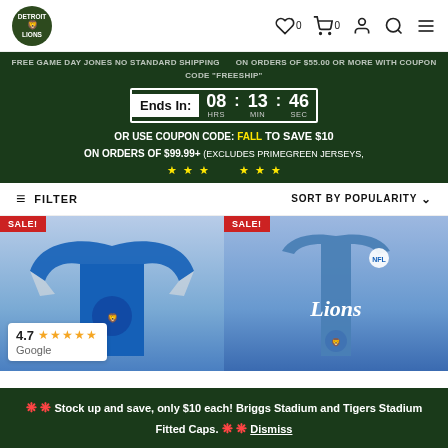Detroit Lions store header with logo, wishlist (0), cart (0), account, search, and menu icons
FREE GAME DAY JONES NO STANDARD SHIPPING on orders of $55.00 or more with coupon code "FREESHIP"
Ends In: 08 HRS 13 MIN 46 SEC
OR USE COUPON CODE: FALL to save $10 on orders of $99.99+ (Excludes Primegreen jerseys,
FILTER
SORT BY POPULARITY
[Figure (photo): Blue Detroit Lions jersey with SALE! badge]
[Figure (photo): Blue Lions sleeveless shirt with SALE! badge]
4.7 stars Google rating overlay
🔴 🔴 Stock up and save, only $10 each! Briggs Stadium and Tigers Stadium Fitted Caps. 🔴 🔴 Dismiss